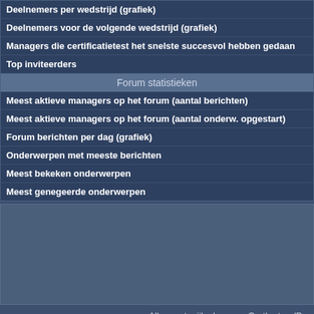Registraties per dag (graf)
Deelnemers per wedstrijd (grafiek)
Deelnemers voor de volgende wedstrijd (grafiek)
Managers die certificatietest het snelste succesvol hebben gedaan
Top inviteerders
Forum statistieken
Meest aktieve managers op het forum (aantal berichten)
Meest aktieve managers op het forum (aantal onderw. opgestart)
Forum berichten per dag (grafiek)
Onderwerpen met meeste berichten
Meest bekeken onderwerpen
Meest genegeerde onderwerpen
[Figure (other): Gray content block / advertisement area]
Allen met mijlpalen voor On the top (B... (Mijlpalen zeldzaamheid: 1 va...
Pagina [1] 2 3 ... 94 95 96 »
| Naam manager | Groep |
| --- | --- |
| Mariano Torregomez | Amateur - 69 |
| Béla Ormos | Pro - 15 |
| Jon Mooney | Amateur - 30 |